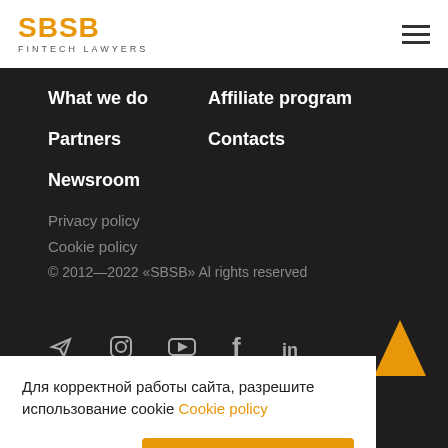[Figure (logo): SBSB Fintech Lawyers logo in orange/gold on white header bar]
[Figure (other): Hamburger menu icon (three horizontal lines) in top right corner]
What we do
Affiliate program
Partners
Contacts
Newsroom
Privacy policy
Cookie policy
© 2012—2022 «SBSB» Al rights reserved
[Figure (other): Social media icons row: Telegram, Instagram, YouTube, Facebook, LinkedIn]
[Figure (other): Orange upward arrow button for scroll to top]
Для корректной работы сайта, разрешите использование cookie Cookie policy
Отказаться
Разрешить